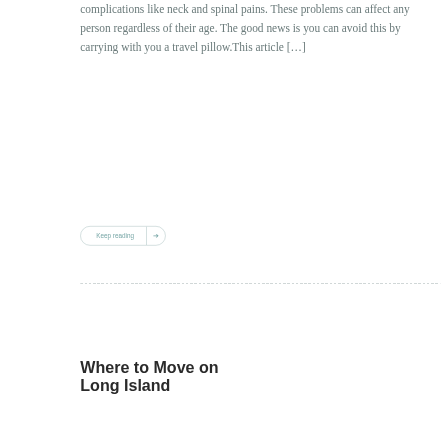complications like neck and spinal pains. These problems can affect any person regardless of their age. The good news is you can avoid this by carrying with you a travel pillow.This article […]
Keep reading →
Where to Move on Long Island